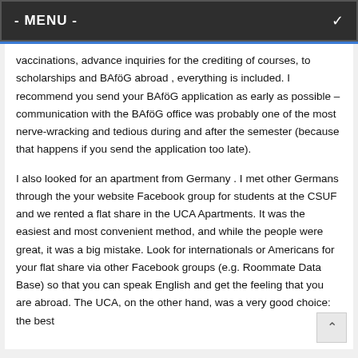- MENU -
vaccinations, advance inquiries for the crediting of courses, to scholarships and BAföG abroad , everything is included. I recommend you send your BAföG application as early as possible – communication with the BAföG office was probably one of the most nerve-wracking and tedious during and after the semester (because that happens if you send the application too late).
I also looked for an apartment from Germany . I met other Germans through the your website Facebook group for students at the CSUF and we rented a flat share in the UCA Apartments. It was the easiest and most convenient method, and while the people were great, it was a big mistake. Look for internationals or Americans for your flat share via other Facebook groups (e.g. Roommate Data Base) so that you can speak English and get the feeling that you are abroad. The UCA, on the other hand, was a very good choice: the best